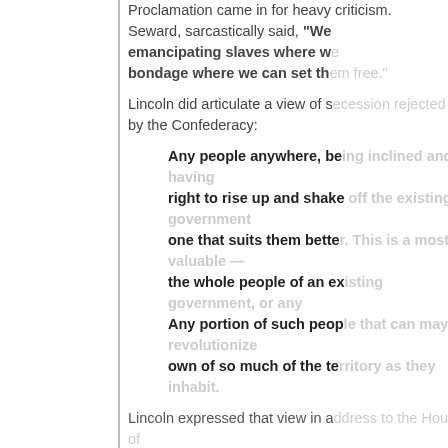Proclamation came in for heavy criticism. Seward, sarcastically said, "We show our sympathy with slavery by emancipating slaves where we have no power, and holding them in bondage where we can set them free."
Lincoln did articulate a view of secession that was rejected by the Confederacy:
Any people anywhere, being inclined and having the power, have the right to rise up and shake off the existing government and form a new one that suits them better. This is a most valuable — a most sacred right — a right which we hope and believe is to liberate the world. Any portion of such people that can may revolutionize and make their own of so much of the territory as they inhabit.
Lincoln expressed that view in a speech to the House of Representatives, supporting the Texas Revolution.
So why was the American “Civil War” fought? Lincoln believed in principle, and was for the right of secession
Why didn’t Lincoln share the same view on secession? Perhaps the money might help with an answer. Tariffs were one of the only sources of federal revenue at the time, and tariffs amounted to 90 percent of federal revenue, and the South paid 70 to 80 percent of tariffs in 1859. What was the tariff money spent on?